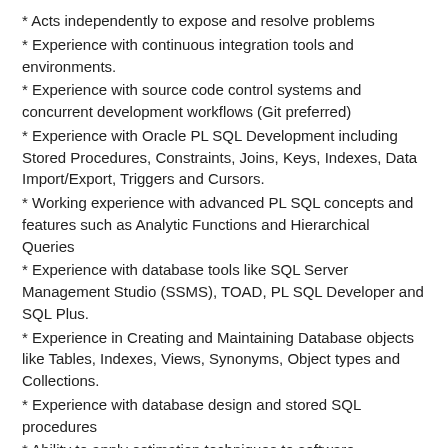* Acts independently to expose and resolve problems
* Experience with continuous integration tools and environments.
* Experience with source code control systems and concurrent development workflows (Git preferred)
* Experience with Oracle PL SQL Development including Stored Procedures, Constraints, Joins, Keys, Indexes, Data Import/Export, Triggers and Cursors.
* Working experience with advanced PL SQL concepts and features such as Analytic Functions and Hierarchical Queries
* Experience with database tools like SQL Server Management Studio (SSMS), TOAD, PL SQL Developer and SQL Plus.
* Experience in Creating and Maintaining Database objects like Tables, Indexes, Views, Synonyms, Object types and Collections.
* Experience with database design and stored SQL procedures
* Ability to apply estimation techniques to software development efforts
* Ability to identify and manage risk